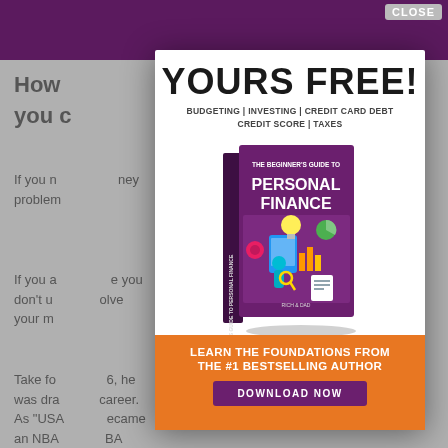[Figure (illustration): Background page with purple header bar and greyed-out article text visible behind the modal overlay]
YOURS FREE!
BUDGETING | INVESTING | CREDIT CARD DEBT
CREDIT SCORE | TAXES
[Figure (illustration): Book cover: 'The Beginner's Guide to Personal Finance' with purple cover and colorful financial icons illustration]
LEARN THE FOUNDATIONS FROM THE #1 BESTSELLING AUTHOR
DOWNLOAD NOW